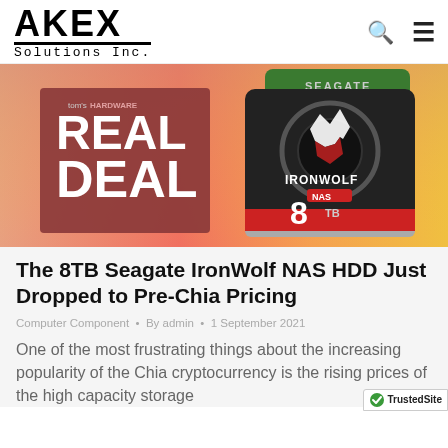AKEX Solutions Inc.
[Figure (photo): Tom's Hardware 'Real Deal' promotional banner featuring a Seagate IronWolf NAS 8TB hard drive on an orange-pink gradient background]
The 8TB Seagate IronWolf NAS HDD Just Dropped to Pre-Chia Pricing
Computer Component • By admin • 1 September 2021
One of the most frustrating things about the increasing popularity of the Chia cryptocurrency is the rising prices of the high capacity storage